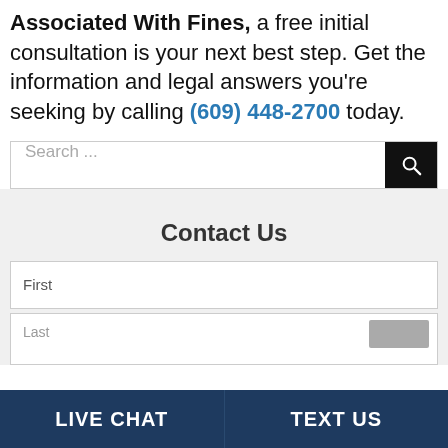Associated With Fines, a free initial consultation is your next best step. Get the information and legal answers you’re seeking by calling (609) 448-2700 today.
Search ...
Contact Us
First
LIVE CHAT   TEXT US